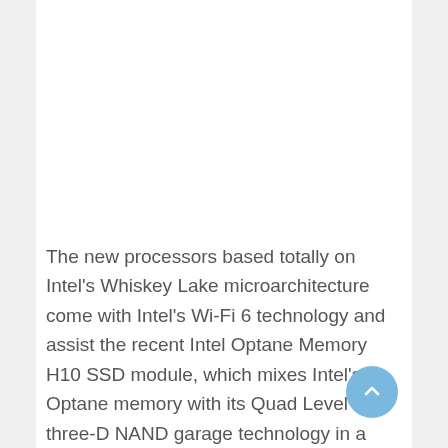The new processors based totally on Intel's Whiskey Lake microarchitecture come with Intel's Wi-Fi 6 technology and assist the recent Intel Optane Memory H10 SSD module, which mixes Intel's Optane memory with its Quad Level Cell three-D NAND garage technology in a